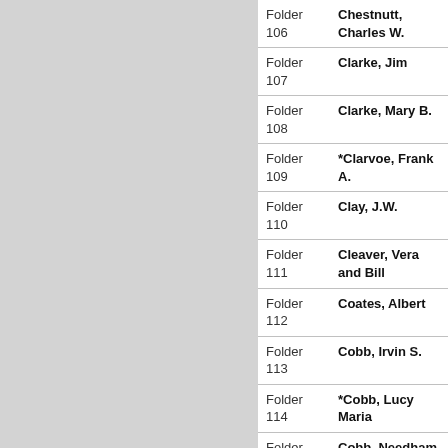| Folder | Name |
| --- | --- |
| Folder 106 | Chestnutt, Charles W. |
| Folder 107 | Clarke, Jim |
| Folder 108 | Clarke, Mary B. |
| Folder 109 | *Clarvoe, Frank A. |
| Folder 110 | Clay, J.W. |
| Folder 111 | Cleaver, Vera and Bill |
| Folder 112 | Coates, Albert |
| Folder 113 | Cobb, Irvin S. |
| Folder 114 | *Cobb, Lucy Maria |
| Folder 115 | Cobb, Needham |